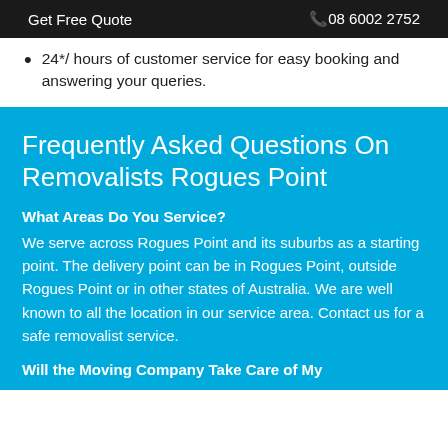Get Free Quote   📞08 6002 2752
24*/ hours of customer service for easy booking and answering your queries.
Frequently Asked Questions On Removalists Rogues Point
What Areas Do You Service?
We serve across Rogues Point and its suburbs as a starting point. The delivery point can be in Rogues Point, outside Rogues Point or in other states of Australia. We are well known to all the location in our service area. Contact us for a safe removalist service.
Will the Moving Company Take Care of My